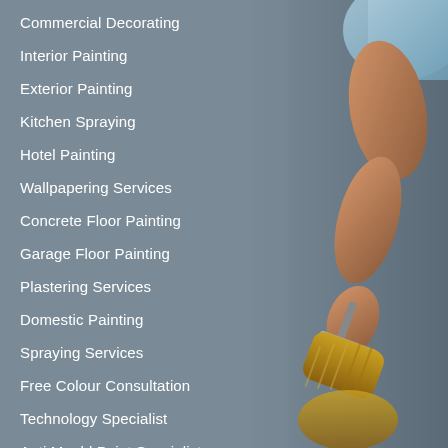[Figure (photo): Background photo of a painter holding a yellow paint roller, with a grey/blue background. The person's arm and the roller are visible on the right side of the image.]
Commercial Decorating
Interior Painting
Exterior Painting
Kitchen Spraying
Hotel Painting
Wallpapering Services
Concrete Floor Painting
Garage Floor Painting
Plastering Services
Domestic Painting
Spraying Services
Free Colour Consultation
Technology Specialist
Anti Mould Paint Specialist